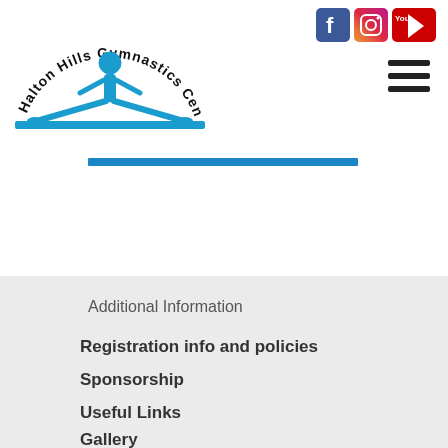[Figure (logo): Halton Hills Gymnastics Centre logo with arched text and a gymnast figure in blue doing a split on a beam]
[Figure (logo): Social media icons: Facebook, Instagram, YouTube]
[Figure (other): Hamburger menu icon (three horizontal lines)]
Additional Information
Registration info and policies
Sponsorship
Useful Links
Gallery